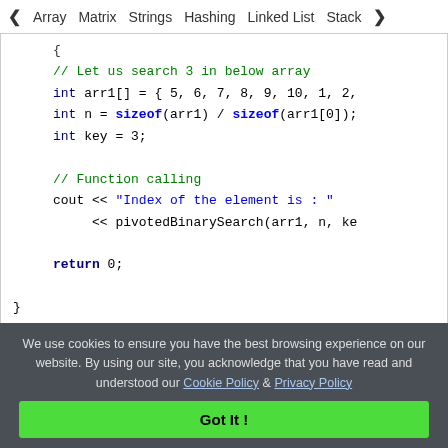◀ Array   Matrix   Strings   Hashing   Linked List   Stack ▶
{ // Let us search 3 in below array
    int arr1[] = { 5, 6, 7, 8, 9, 10, 1, 2,
    int n = sizeof(arr1) / sizeof(arr1[0]);
    int key = 3;

    // Function calling
    cout << "Index of the element is : "
         << pivotedBinarySearch(arr1, n, ke

    return 0;
}
C
We use cookies to ensure you have the best browsing experience on our website. By using our site, you acknowledge that you have read and understood our Cookie Policy & Privacy Policy
Got It !